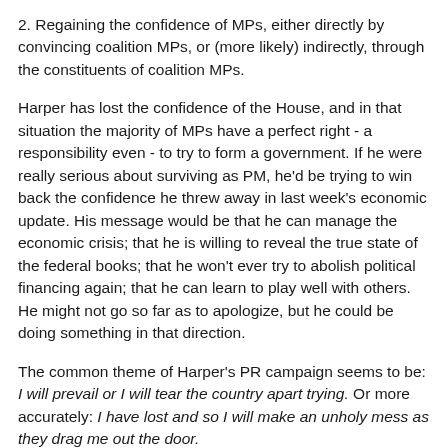2. Regaining the confidence of MPs, either directly by convincing coalition MPs, or (more likely) indirectly, through the constituents of coalition MPs.
Harper has lost the confidence of the House, and in that situation the majority of MPs have a perfect right - a responsibility even - to try to form a government. If he were really serious about surviving as PM, he'd be trying to win back the confidence he threw away in last week's economic update. His message would be that he can manage the economic crisis; that he is willing to reveal the true state of the federal books; that he won't ever try to abolish political financing again; that he can learn to play well with others. He might not go so far as to apologize, but he could be doing something in that direction.
The common theme of Harper's PR campaign seems to be: I will prevail or I will tear the country apart trying. Or more accurately: I have lost and so I will make an unholy mess as they drag me out the door.